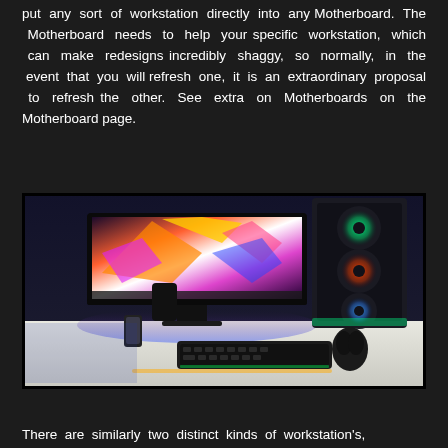put any sort of workstation directly into any Motherboard. The Motherboard needs to help your specific workstation, which can make redesigns incredibly shaggy, so normally, in the event that you will refresh one, it is an extraordinary proposal to refresh the other. See extra on Motherboards on the Motherboard page.
[Figure (photo): Gaming PC setup on a desk with an ultrawide monitor displaying colorful abstract wallpaper, RGB gaming PC tower on the right with glowing fans, keyboard, mouse, and phone on the white desk with purple/blue ambient lighting.]
There are similarly two distinct kinds of workstation's,